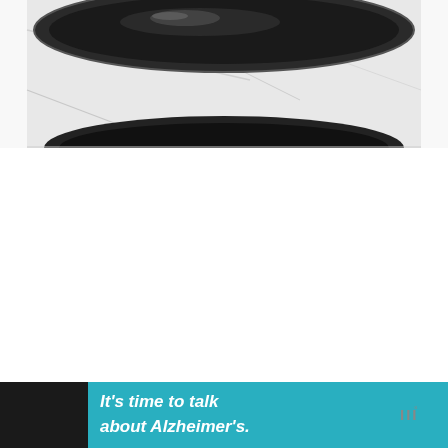[Figure (photo): Close-up photo of a dark/black round bowl or pan viewed from above on a white marble surface. Only the top portion of the bowl is visible, showing its dark rim and reflective interior against a light marble background.]
[Figure (other): Advertisement banner: teal/cyan background with italic white bold text 'It's time to talk about Alzheimer's.' A white 'LEARN MORE' button, the Alzheimer's Association logo, a close/X button, and a 'W°' watermark logo on black background on the right side.]